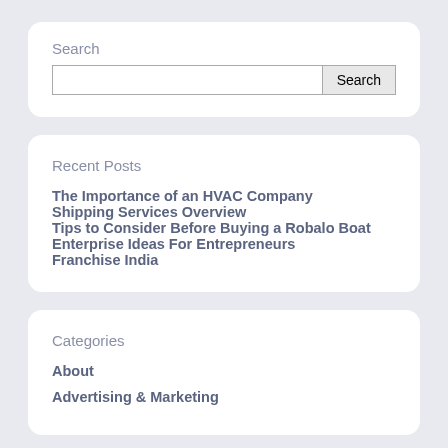Search
Recent Posts
The Importance of an HVAC Company
Shipping Services Overview
Tips to Consider Before Buying a Robalo Boat
Enterprise Ideas For Entrepreneurs
Franchise India
Categories
About
Advertising & Marketing